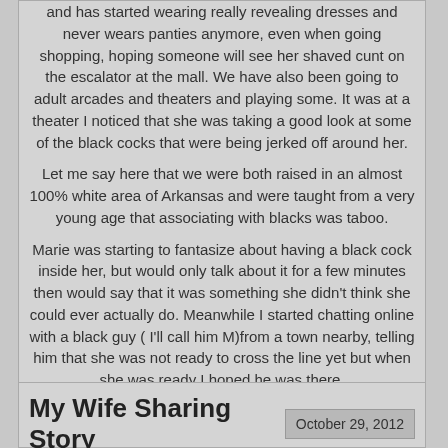and has started wearing really revealing dresses and never wears panties anymore, even when going shopping, hoping someone will see her shaved cunt on the escalator at the mall. We have also been going to adult arcades and theaters and playing some. It was at a theater I noticed that she was taking a good look at some of the black cocks that were being jerked off around her.
Let me say here that we were both raised in an almost 100% white area of Arkansas and were taught from a very young age that associating with blacks was taboo.
Marie was starting to fantasize about having a black cock inside her, but would only talk about it for a few minutes then would say that it was something she didn't think she could ever actually do. Meanwhile I started chatting online with a black guy ( I'll call him M)from a town nearby, telling him that she was not ready to cross the line yet but when she was ready I hoped he was there.
(more...)
Tags: my wifes first black cock
My Wife Sharing Story
October 29, 2012